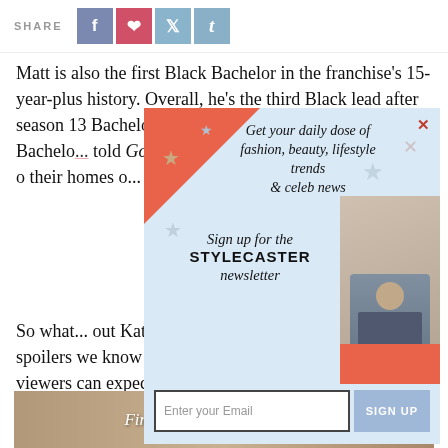SHARE
Matt is also the first Black Bachelor in the franchise's 15-year-plus history. Overall, he's the third Black lead after season 13 Bachelorette Rachel Lindsay and season 16 Bachelore... told Good M... cast. "I'm just... om raised m... o their homes o... I'm not much di... e love stories a...
[Figure (other): Newsletter signup overlay with light blue background, coral corner decoration, star decorations, photo of woman in plaid jacket. Text: 'Get your daily dose of fashion, beauty, lifestyle trends & celeb news / Sign up for the STYLECASTER newsletter'. Email input field and SIGN UP button.]
So what... out Katie? Read on for The Bachelor 2021 spoilers we know about Katie Thurston—and when viewers can expect her on The Bachelorette season 17.
[Figure (photo): Advertisement banner at bottom: 'Find your perfect somewhere' with nature/travel imagery]